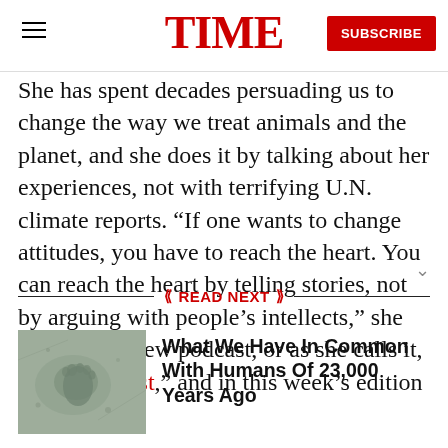TIME | SUBSCRIBE
She has spent decades persuading us to change the way we treat animals and the planet, and she does it by talking about her experiences, not with terrifying U.N. climate reports. “If one wants to change attitudes, you have to reach the heart. You can reach the heart by telling stories, not by arguing with people’s intellects,” she says on her new podcast, or as she calls it, her “Hopecast,” and in this week’s edition of TIME.
READ NEXT
[Figure (photo): Ancient footprint fossil or rock impression]
What We Have In Common With Humans Of 23,000 Years Ago